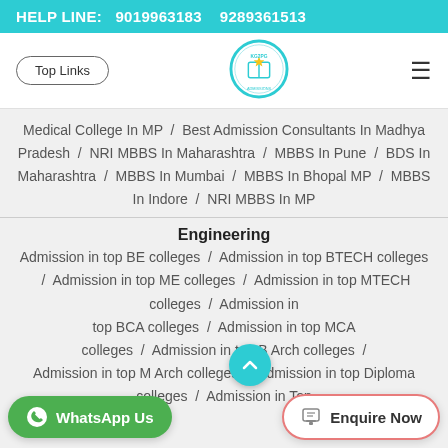HELP LINE:  9019963183   9289361513
[Figure (logo): KG2PG Admissions circular logo with book and star emblem]
Medical College In MP  /  Best Admission Consultants In Madhya Pradesh  /  NRI MBBS In Maharashtra  /  MBBS In Pune  /  BDS In Maharashtra  /  MBBS In Mumbai  /  MBBS In Bhopal MP  /  MBBS In Indore  /  NRI MBBS In MP
Engineering
Admission in top BE colleges  /  Admission in top BTECH colleges  /  Admission in top ME colleges  /  Admission in top MTECH colleges  /  Admission in top BCA colleges  /  Admission in top MCA colleges  /  Admission in top B Arch colleges  /  Admission in top M Arch colleges  /  Admission in top Diploma colleges  /  Admission in Top